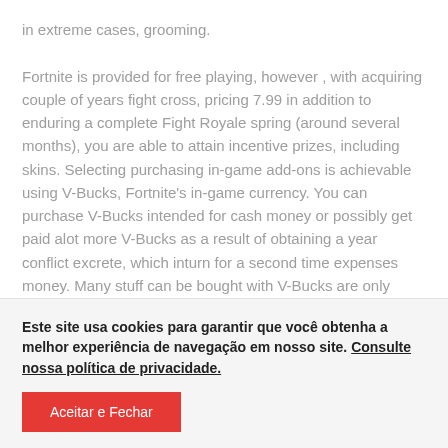in extreme cases, grooming.

Fortnite is provided for free playing, however , with acquiring couple of years fight cross, pricing 7.99 in addition to enduring a complete Fight Royale spring (around several months), you are able to attain incentive prizes, including skins. Selecting purchasing in-game add-ons is achievable using V-Bucks, Fortnite's in-game currency. You can purchase V-Bucks intended for cash money or possibly get paid alot more V-Bucks as a result of obtaining a year conflict excrete, which inturn for a second time expenses money. Many stuff can be bought with V-Bucks are only
Este site usa cookies para garantir que você obtenha a melhor experiência de navegação em nosso site. Consulte nossa política de privacidade.
Aceitar e Fechar